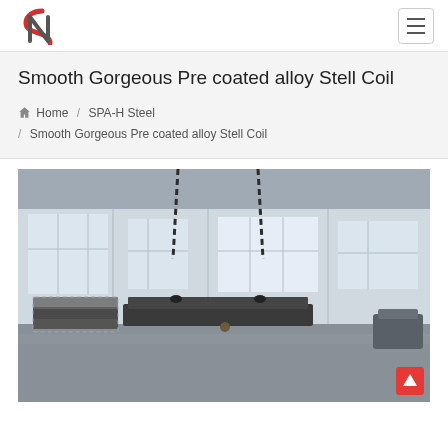Logo and navigation bar
Smooth Gorgeous Pre coated alloy Stell Coil
Home / SPA-H Steel / Smooth Gorgeous Pre coated alloy Stell Coil
[Figure (photo): Industrial warehouse interior showing steel coil or plate being lifted by chain hoist/crane. Steel plates and packaged materials visible on the floor. The image is partially cropped at the bottom.]